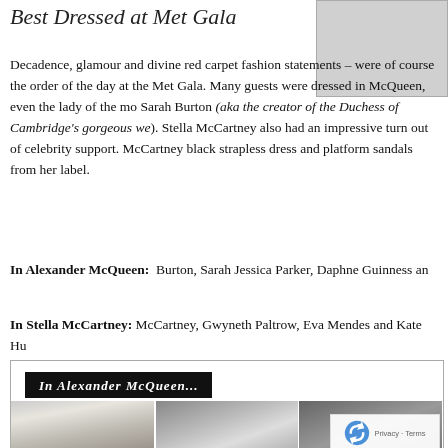Best Dressed at Met Gala
Decadence, glamour and divine red carpet fashion statements – were of course the order of the day at the Met Gala. Many guests were dressed in McQueen, even the lady of the moment Sarah Burton (aka the creator of the Duchess of Cambridge's gorgeous wedding dress). Stella McCartney also had an impressive turn out of celebrity support. McCartney herself wore a chic black strapless dress and platform sandals from her label.
In Alexander McQueen: Burton, Sarah Jessica Parker, Daphne Guinness and...
In Stella McCartney: McCartney, Gwyneth Paltrow, Eva Mendes and Kate Hu...
[Figure (photo): Photo gallery showing celebrities in Alexander McQueen at Met Gala, with label 'In Alexander McQueen...' on black banner. Three side-by-side photos of women in formal attire.]